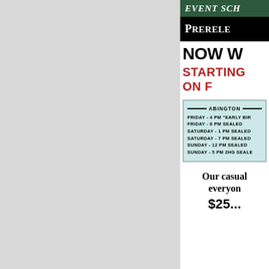EVENT SCH...
PRERELE...
NOW W...
STARTING...
ON F...
| ABINGTON |
| FRIDAY - 4 PM "EARLY BIR... |
| FRIDAY - 8 PM SEALED |
| SATURDAY - 1 PM SEALED |
| SATURDAY - 7 PM SEALED |
| SUNDAY - 12 PM SEALED |
| SUNDAY - 5 PM 2HG SEALE... |
Our casual... everyone...
$25...